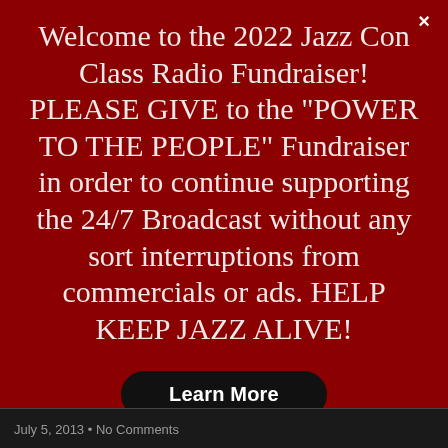Welcome to the 2022 Jazz Con Class Radio Fundraiser! PLEASE GIVE to the "POWER TO THE PEOPLE" Fundraiser in order to continue supporting the 24/7 Broadcast without any sort interruptions from commercials or ads. HELP KEEP JAZZ ALIVE!
Learn More
July 5, 2013 • No Comments